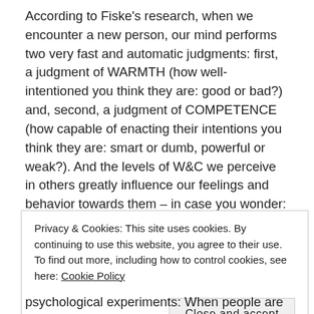According to Fiske's research, when we encounter a new person, our mind performs two very fast and automatic judgments: first, a judgment of WARMTH (how well-intentioned you think they are: good or bad?) and, second, a judgment of COMPETENCE (how capable of enacting their intentions you think they are: smart or dumb, powerful or weak?). And the levels of W&C we perceive in others greatly influence our feelings and behavior towards them – in case you wonder: the stereotypical -W-C person elicits contempt, +W-C elicits pity, -W+C elicits envy, and +W+C elicits pride (Fiske et al., 2007).
But the effect is even deeper: people that are perceived as -
Privacy & Cookies: This site uses cookies. By continuing to use this website, you agree to their use.
To find out more, including how to control cookies, see here: Cookie Policy
Close and accept
psychological experiments: When people are shown images